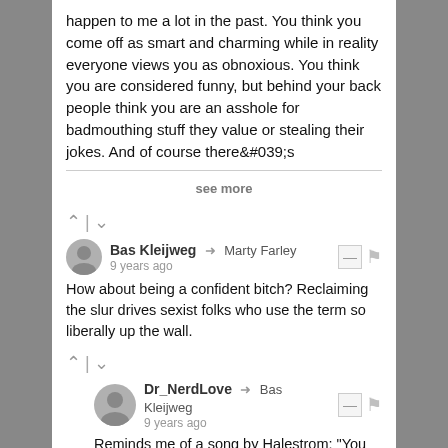happen to me a lot in the past. You think you come off as smart and charming while in reality everyone views you as obnoxious. You think you are considered funny, but behind your back people think you are an asshole for badmouthing stuff they value or stealing their jokes. And of course there&#039;s
see more
Bas Kleijweg → Marty Farley
9 years ago
How about being a confident bitch? Reclaiming the slur drives sexist folks who use the term so liberally up the wall.
Dr_NerdLove → Bas Kleijweg
9 years ago
Reminds me of a song by Halestrom: "You Call Me A Bitch Like It&#039;s A Bad Thing".